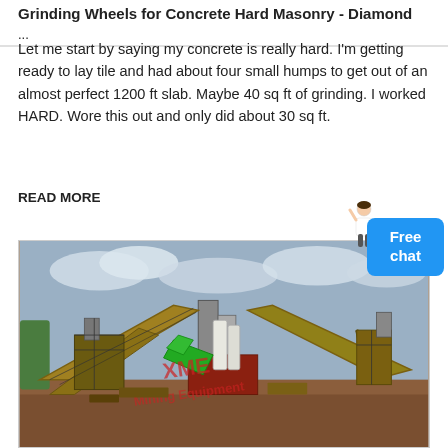Grinding Wheels for Concrete Hard Masonry - Diamond ...
Let me start by saying my concrete is really hard. I'm getting ready to lay tile and had about four small humps to get out of an almost perfect 1200 ft slab. Maybe 40 sq ft of grinding. I worked HARD. Wore this out and only did about 30 sq ft.
READ MORE
[Figure (photo): Industrial mining or stone crushing plant with large yellow conveyor belts, crushers, and silos on a dirt lot. XME Mining Equipment watermark visible in the center.]